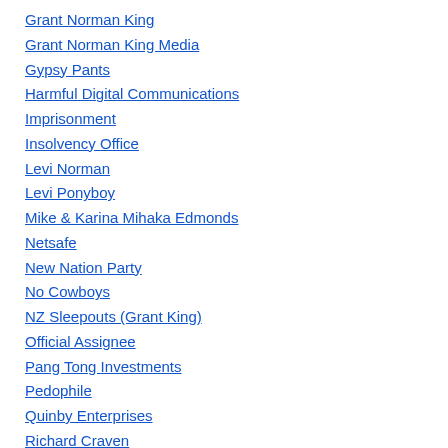Grant Norman King
Grant Norman King Media
Gypsy Pants
Harmful Digital Communications
Imprisonment
Insolvency Office
Levi Norman
Levi Ponyboy
Mike & Karina Mihaka Edmonds
Netsafe
New Nation Party
No Cowboys
NZ Sleepouts (Grant King)
Official Assignee
Pang Tong Investments
Pedophile
Quinby Enterprises
Richard Craven
Sequoia King